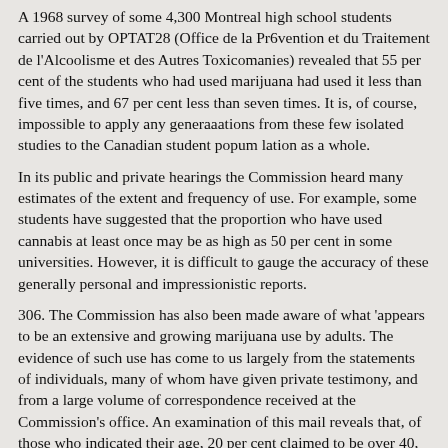A 1968 survey of some 4,300 Montreal high school students carried out by OPTAT28 (Office de la Pr6vention et du Traitement de l'Alcoolisme et des Autres Toxicomanies) revealed that 55 per cent of the students who had used marijuana had used it less than five times, and 67 per cent less than seven times. It is, of course, impossible to apply any generaaations from these few isolated studies to the Canadian student popum lation as a whole.
In its public and private hearings the Commission heard many estimates of the extent and frequency of use. For example, some students have suggested that the proportion who have used cannabis at least once may be as high as 50 per cent in some universities. However, it is difficult to gauge the accuracy of these generally personal and impressionistic reports.
306. The Commission has also been made aware of what 'appears to be an extensive and growing marijuana use by adults. The evidence of such use has come to us largely from the statements of individuals, many of whom have given private testimony, and from a large volume of correspondence received at the Commission's office. An examination of this mail reveals that, of those who indicated their age, 20 per cent claimed to be over 40, 25 per cent between 30 and 40, and 40 per cent between 20 and 30. Most were married and on the whole claimed to have reached an average or above average level of education. The Commissioners have spoken to physicians, lawyers, bankers, politicians, teachers, scientists,